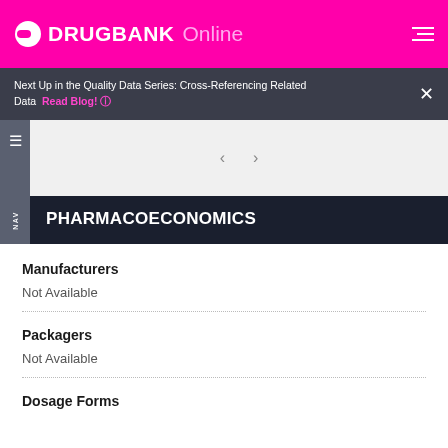DRUGBANK Online
Next Up in the Quality Data Series: Cross-Referencing Related Data  Read Blog!  ×
PHARMACOECONOMICS
Manufacturers
Not Available
Packagers
Not Available
Dosage Forms